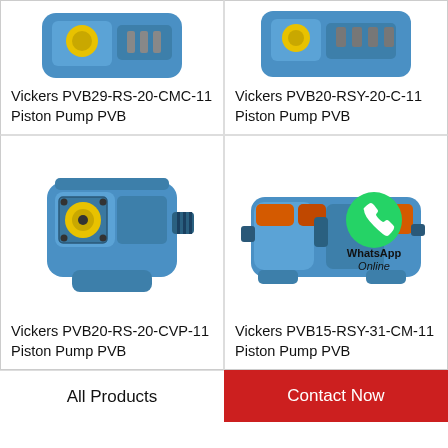[Figure (photo): Vickers PVB29-RS-20-CMC-11 piston pump, blue hydraulic pump unit, top portion visible]
[Figure (photo): Vickers PVB20-RSY-20-C-11 piston pump, blue hydraulic pump unit, top portion visible]
Vickers PVB29-RS-20-CMC-11 Piston Pump PVB
Vickers PVB20-RSY-20-C-11 Piston Pump PVB
[Figure (photo): Vickers PVB20-RS-20-CVP-11 piston pump, blue hydraulic pump with yellow port]
[Figure (photo): Vickers PVB15-RSY-31-CM-11 piston pump, blue hydraulic pump with orange components and WhatsApp Online overlay]
Vickers PVB20-RS-20-CVP-11 Piston Pump PVB
Vickers PVB15-RSY-31-CM-11 Piston Pump PVB
All Products
Contact Now